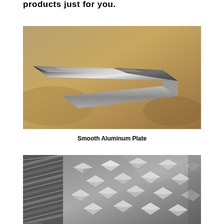products just for you.
[Figure (photo): Stack of smooth aluminum plates/sheets showing layered edges, photographed on a tan/brown background]
Smooth Aluminum Plate
[Figure (photo): Close-up of diamond plate (checker plate) aluminum with raised diamond pattern, shown at an angle]